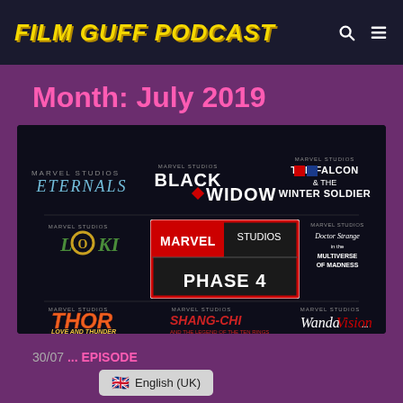FILM GUFF PODCAST
Month: July 2019
[Figure (photo): Marvel Studios Phase 4 announcement collage showing logos for: Eternals, Black Widow, The Falcon and the Winter Soldier, Loki, Marvel Studios Phase 4 (center), Doctor Strange in the Multiverse of Madness, Thor Love and Thunder, Shang-Chi and the Legend of the Ten Rings, WandaVision]
30/07 ... EPISODE
🇬🇧 English (UK)